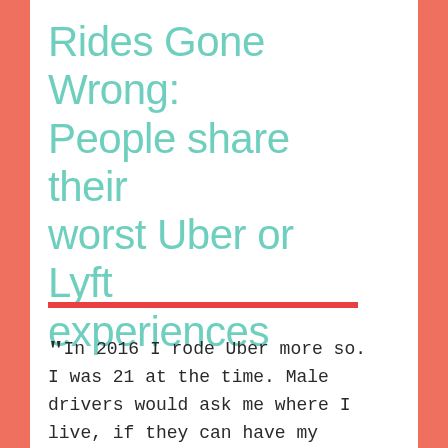Rides Gone Wrong: People share their worst Uber or Lyft experiences
"In 2016 I rode Uber more so. I was 21 at the time. Male drivers would ask me where I live, if they can have my number, did I drink or smoke. Some were flirtatious.